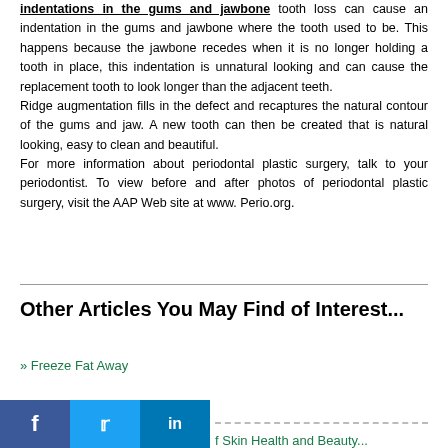indentations in the gums and jawbone tooth loss can cause an indentation in the gums and jawbone where the tooth used to be. This happens because the jawbone recedes when it is no longer holding a tooth in place, this indentation is unnatural looking and can cause the replacement tooth to look longer than the adjacent teeth.
Ridge augmentation fills in the defect and recaptures the natural contour of the gums and jaw. A new tooth can then be created that is natural looking, easy to clean and beautiful.
For more information about periodontal plastic surgery, talk to your periodontist. To view before and after photos of periodontal plastic surgery, visit the AAP Web site at www. Perio.org.
Other Articles You May Find of Interest...
» Freeze Fat Away
» f Skin Health and Beauty...